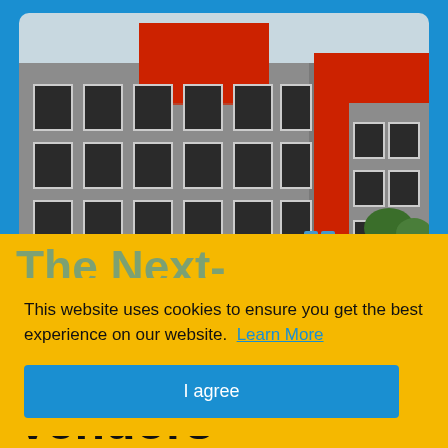[Figure (photo): Photo of a modern multi-story building with gray facade and red accent panels/top floor, featuring large rectangular windows in a grid pattern and a rooftop terrace with blue chairs and railings.]
This website uses cookies to ensure you get the best experience on our website. Learn More
I agree
The Next-Generation Firewall (NGFW) Vendors